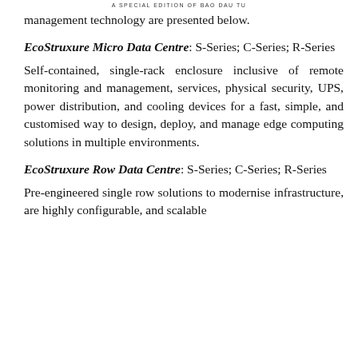A SPECIAL EDITION OF BAO DAU TU
management technology are presented below.
EcoStruxure Micro Data Centre: S-Series; C-Series; R-Series
Self-contained, single-rack enclosure inclusive of remote monitoring and management, services, physical security, UPS, power distribution, and cooling devices for a fast, simple, and customised way to design, deploy, and manage edge computing solutions in multiple environments.
EcoStruxure Row Data Centre: S-Series; C-Series; R-Series
Pre-engineered single row solutions to modernise infrastructure, are highly configurable, and scalable